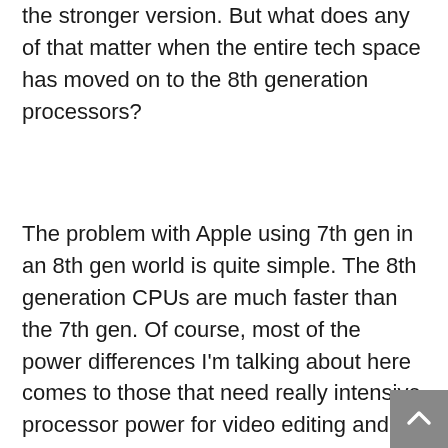the stronger version. But what does any of that matter when the entire tech space has moved on to the 8th generation processors?
The problem with Apple using 7th gen in an 8th gen world is quite simple. The 8th generation CPUs are much faster than the 7th gen. Of course, most of the power differences I'm talking about here comes to those that need really intensive processor power for video editing and the like, so arguably this won't affect most people, but the entire industry has switched over the 8th gen processors while Apple is hanging out in the wake of the 7th gen still. That means since about November of 2017 they could have